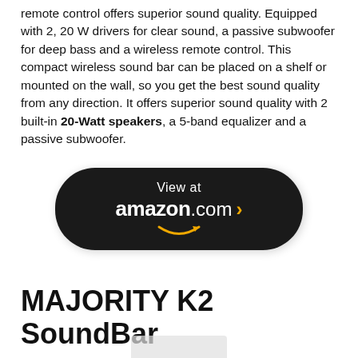remote control offers superior sound quality. Equipped with 2, 20 W drivers for clear sound, a passive subwoofer for deep bass and a wireless remote control. This compact wireless sound bar can be placed on a shelf or mounted on the wall, so you get the best sound quality from any direction. It offers superior sound quality with 2 built-in 20-Watt speakers, a 5-band equalizer and a passive subwoofer.
[Figure (other): Amazon.com button/badge with dark rounded rectangle background, 'View at' text on top, 'amazon.com >' in white/orange below, and Amazon smile arrow logo]
MAJORITY K2 SoundBar